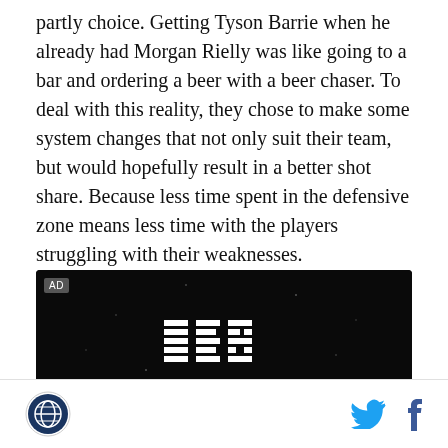partly choice. Getting Tyson Barrie when he already had Morgan Rielly was like going to a bar and ordering a beer with a beer chaser. To deal with this reality, they chose to make some system changes that not only suit their team, but would hopefully result in a better shot share. Because less time spent in the defensive zone means less time with the players struggling with their weaknesses.
[Figure (other): IBM advertisement banner with dark starfield background showing IBM striped logo and partial yellow text at bottom reading 'A SEED O...']
SB Nation logo | Twitter icon | Facebook icon